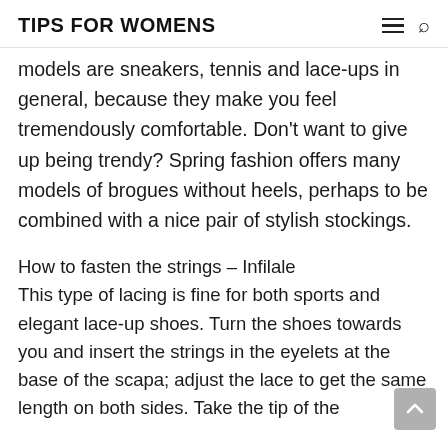TIPS FOR WOMENS
models are sneakers, tennis and lace-ups in general, because they make you feel tremendously comfortable. Don't want to give up being trendy? Spring fashion offers many models of brogues without heels, perhaps to be combined with a nice pair of stylish stockings.
How to fasten the strings – Infilale
This type of lacing is fine for both sports and elegant lace-up shoes. Turn the shoes towards you and insert the strings in the eyelets at the base of the scapa; adjust the lace to get the same length on both sides. Take the tip of the